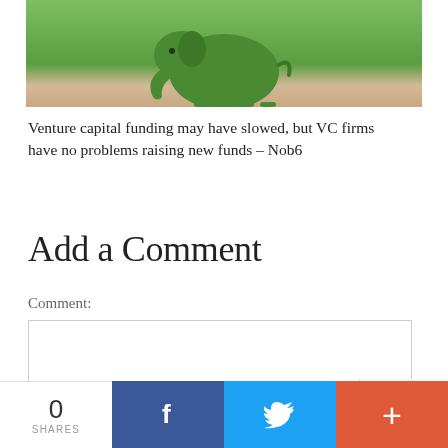[Figure (photo): Green toy elephant figurine on a light surface, photo cropped at top]
Venture capital funding may have slowed, but VC firms have no problems raising new funds – Nob6
Add a Comment
Comment:
[Figure (other): Empty comment text area input box]
[Figure (other): reCAPTCHA badge]
0 SHARES | Facebook share | Twitter share | More share options